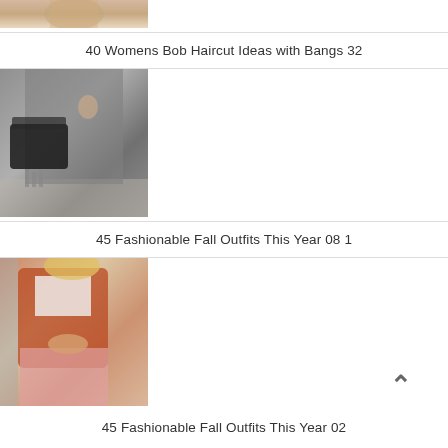[Figure (photo): Partial view of a woman in a beige/nude top, cropped at top of frame]
40 Womens Bob Haircut Ideas with Bangs 32
[Figure (photo): Woman in grey sweater/shawl holding a black Birkin-style handbag, wearing grey checked trousers]
45 Fashionable Fall Outfits This Year 08 1
[Figure (photo): Blonde woman wearing a rust/terracotta long coat over a white top and pink pleated skirt, with a belt bag]
45 Fashionable Fall Outfits This Year 02